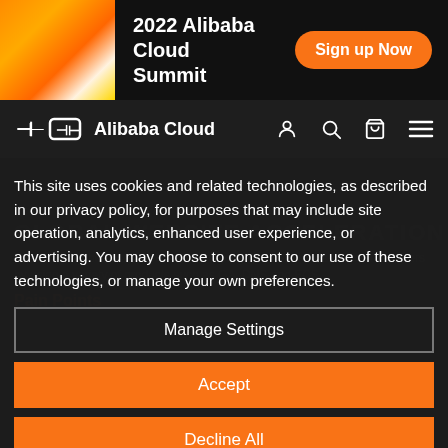[Figure (screenshot): Alibaba Cloud Summit 2022 banner with orange gradient image on left, white bold text '2022 Alibaba Cloud Summit' in center, and orange 'Sign up Now' button on right, on black background]
[Figure (logo): Alibaba Cloud navigation bar with logo (bracket icon) and text 'Alibaba Cloud', user/search/cart/menu icons on right, dark background]
This site uses cookies and related technologies, as described in our privacy policy, for purposes that may include site operation, analytics, enhanced user experience, or advertising. You may choose to consent to our use of these technologies, or manage your own preferences.
Manage Settings
Accept
Decline All
Privacy Policy